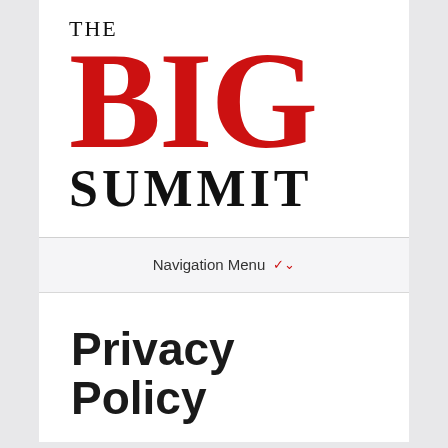[Figure (logo): The Big Summit logo: 'THE' in small serif text above large red serif 'BIG' letters, with 'SUMMIT' in large black bold serif text below]
Navigation Menu ▾
Privacy Policy